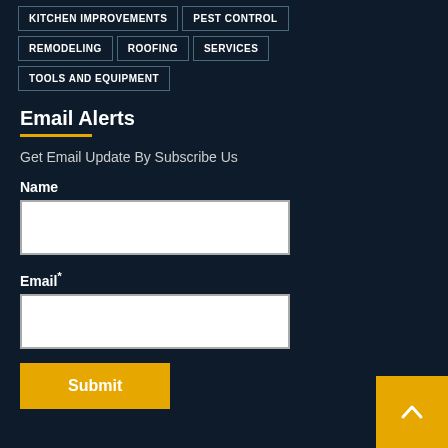KITCHEN IMPROVEMENTS
PEST CONTROL
REMODELING
ROOFING
SERVICES
TOOLS AND EQUIPMENT
Email Alerts
Get Email Update By Subscribe Us
Name
Email*
Submit